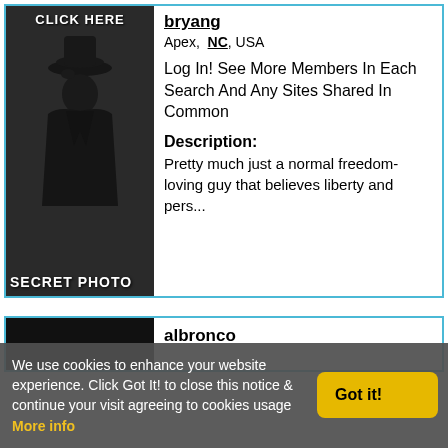[Figure (photo): Secret photo placeholder with a silhouetted figure wearing a hat, with 'CLICK HERE' text at top and 'SECRET PHOTO' text at bottom]
bryang
Apex, NC, USA
Log In! See More Members In Each Search And Any Sites Shared In Common
Description:
Pretty much just a normal freedom-loving guy that believes liberty and pers...
albronco
We use cookies to enhance your website experience. Click Got It! to close this notice & continue your visit agreeing to cookies usage More info